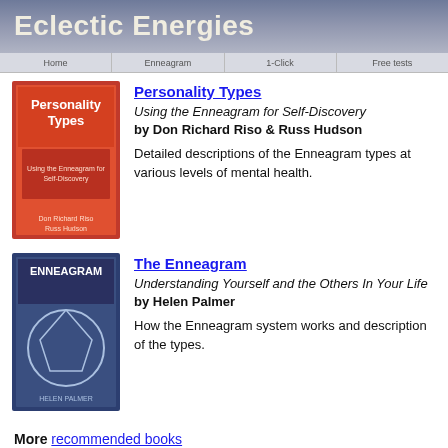Eclectic Energies
[Figure (illustration): Book cover: Personality Types, orange cover]
Personality Types
Using the Enneagram for Self-Discovery
by Don Richard Riso & Russ Hudson
Detailed descriptions of the Enneagram types at various levels of mental health.
[Figure (illustration): Book cover: The Enneagram, blue/white cover with enneagram symbol]
The Enneagram
Understanding Yourself and the Others In Your Life
by Helen Palmer
How the Enneagram system works and description of the types.
More recommended books